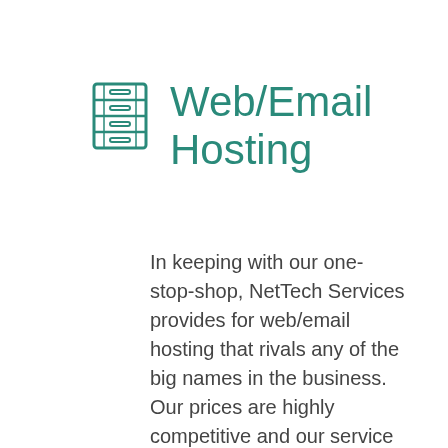[Figure (illustration): Teal/green icon of a filing cabinet or server rack, rendered in outline style]
Web/Email Hosting
In keeping with our one-stop-shop, NetTech Services provides for web/email hosting that rivals any of the big names in the business. Our prices are highly competitive and our service is always personal.